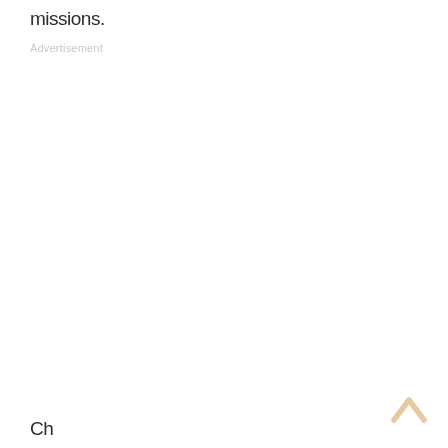missions.
Advertisement
[Figure (other): Scroll-to-top chevron arrow icon in beige/tan color, pointing upward, located in the bottom-right corner of the page.]
Ch...